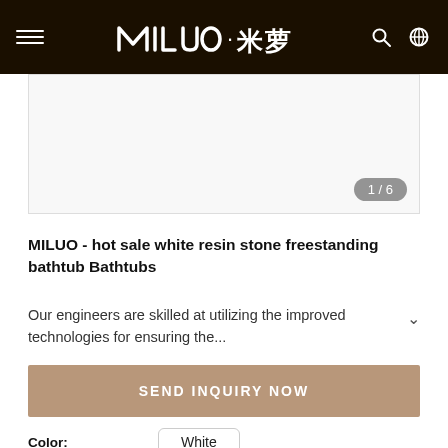MILUO·米萝
[Figure (photo): Product image placeholder showing white resin stone freestanding bathtub, with image counter 1/6]
MILUO - hot sale white resin stone freestanding bathtub Bathtubs
Our engineers are skilled at utilizing the improved technologies for ensuring the...
SEND INQUIRY NOW
Color: White
shipping: Sea freight